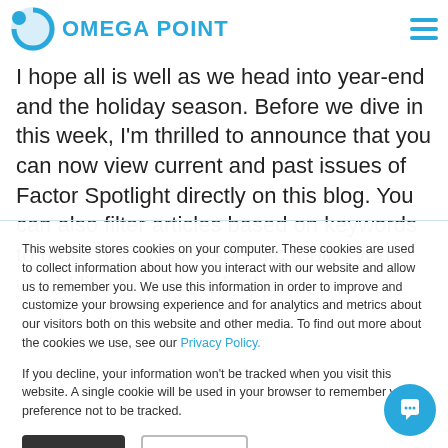OMEGA POINT
I hope all is well as we head into year-end and the holiday season. Before we dive in this week, I'm thrilled to announce that you can now view current and past issues of Factor Spotlight directly on this blog. You can also filter articles based on keywords to more quickly find specific topics you would like to explore further.
This website stores cookies on your computer. These cookies are used to collect information about how you interact with our website and allow us to remember you. We use this information in order to improve and customize your browsing experience and for analytics and metrics about our visitors both on this website and other media. To find out more about the cookies we use, see our Privacy Policy.

If you decline, your information won't be tracked when you visit this website. A single cookie will be used in your browser to remember your preference not to be tracked.